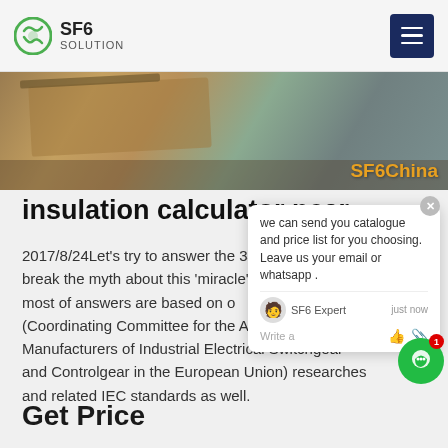SF6 SOLUTION
[Figure (photo): Workshop photo with tools and equipment, watermark text 'SF6China' in orange]
insulation calculator near
2017/8/24Let's try to answer the 34 ... d break the myth about this 'miracle' g... most of answers are based on ... (Coordinating Committee for the As... Manufacturers of Industrial Electrical Switchgear and Controlgear in the European Union) researches and related IEC standards as well.
Get Price